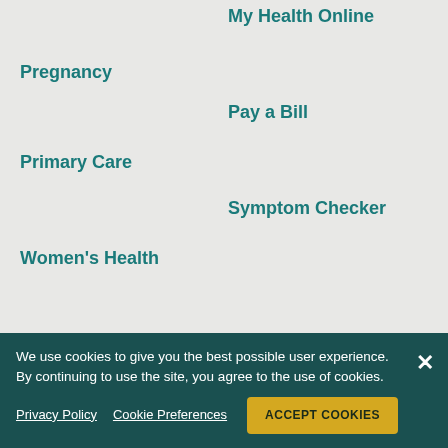My Health Online
Pregnancy
Pay a Bill
Primary Care
Symptom Checker
Women's Health
View All >
Our Team
For Employees
Physician Careers
Recruiting Events
Fellowships
Other Careers
We use cookies to give you the best possible user experience. By continuing to use the site, you agree to the use of cookies.
Privacy Policy  Cookie Preferences  ACCEPT COOKIES